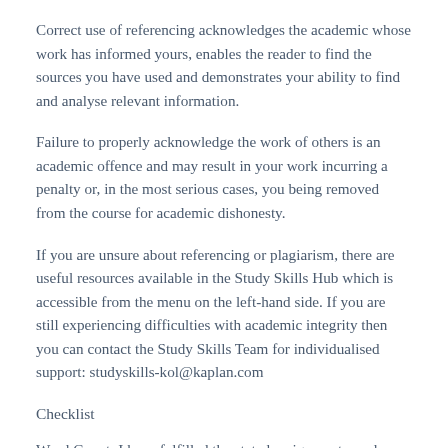Correct use of referencing acknowledges the academic whose work has informed yours, enables the reader to find the sources you have used and demonstrates your ability to find and analyse relevant information.
Failure to properly acknowledge the work of others is an academic offence and may result in your work incurring a penalty or, in the most serious cases, you being removed from the course for academic dishonesty.
If you are unsure about referencing or plagiarism, there are useful resources available in the Study Skills Hub which is accessible from the menu on the left-hand side. If you are still experiencing difficulties with academic integrity then you can contact the Study Skills Team for individualised support: studyskills-kol@kaplan.com
Checklist
Word Count: I have fulfilled the stated assignment word count. I am aware that if I exceed the word count limit/range, by more than 10%, that my assignment grade will be reduced by 10% grade points. For the full word count penalty details,